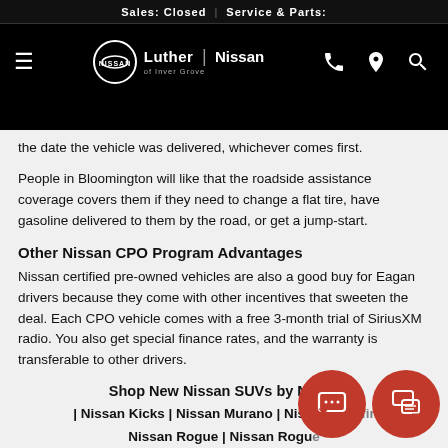Sales: Closed | Service & Parts:
[Figure (logo): Luther Nissan of Inver Grove logo and navigation bar with hamburger menu, phone icon, location pin, and search icon]
the date the vehicle was delivered, whichever comes first.
People in Bloomington will like that the roadside assistance coverage covers them if they need to change a flat tire, have gasoline delivered to them by the road, or get a jump-start.
Other Nissan CPO Program Advantages
Nissan certified pre-owned vehicles are also a good buy for Eagan drivers because they come with other incentives that sweeten the deal. Each CPO vehicle comes with a free 3-month trial of SiriusXM radio. You also get special finance rates, and the warranty is transferable to other drivers.
Shop New Nissan SUVs by Model
| Nissan Kicks | Nissan Murano | Nissan Pathfinder | Nissan Rogue | Nissan Rogue...